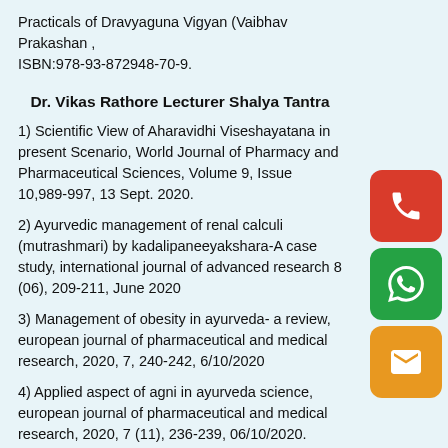Practicals of Dravyaguna Vigyan (Vaibhav Prakashan , ISBN:978-93-872948-70-9.
Dr. Vikas Rathore Lecturer Shalya Tantra
1) Scientific View of Aharavidhi Viseshayatana in present Scenario, World Journal of Pharmacy and Pharmaceutical Sciences, Volume 9, Issue 10,989-997, 13 Sept. 2020.
2) Ayurvedic management of renal calculi (mutrashmari) by kadalipaneeyakshara-A case study, international journal of advanced research 8 (06), 209-211, June 2020
3) Management of obesity in ayurveda- a review, european journal of pharmaceutical and medical research, 2020, 7, 240-242, 6/10/2020
4) Applied aspect of agni in ayurveda science, european journal of pharmaceutical and medical research, 2020, 7 (11), 236-239, 06/10/2020.